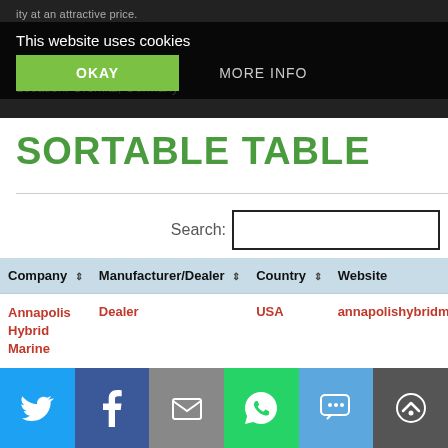This website uses cookies
Location: Gromitz, Germany
SORTABLE TABLE
Search:
| Company | Manufacturer/Dealer | Country | Website |
| --- | --- | --- | --- |
| Annapolis Hybrid Marine | Dealer | USA | annapolishybridmarine.co |
| Betts Boat Electrics | Dealer | Australia | bbelectricboat.com |
| Bridge Yachts | Dealer | Canada | bridgeyachts.com |
Social share bar: Twitter, Facebook, Email, WhatsApp, SMS, More